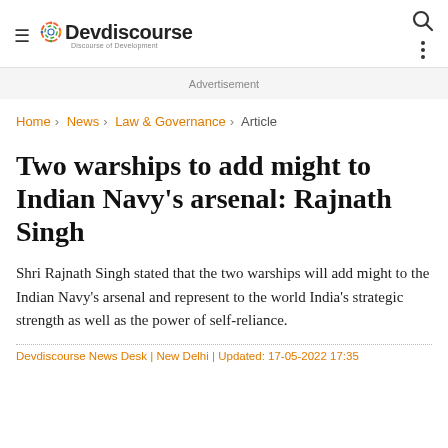Devdiscourse — Discourse of Development
Advertisement
Home › News › Law & Governance › Article
Two warships to add might to Indian Navy's arsenal: Rajnath Singh
Shri Rajnath Singh stated that the two warships will add might to the Indian Navy's arsenal and represent to the world India's strategic strength as well as the power of self-reliance.
Devdiscourse News Desk | New Delhi | Updated: 17-05-2022 17:35